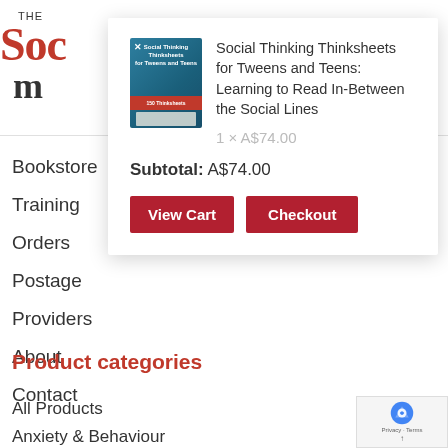[Figure (logo): The Social Thinking logo — red 'Soc' text and 'm' below in dark]
[Figure (other): Hamburger menu icon (three horizontal lines)]
Bookstore
Training
Orders
Postage
Providers
About
Contact
[Figure (screenshot): Shopping cart popup showing book Social Thinking Thinksheets for Tweens and Teens with price 1 × A$74.00, subtotal A$74.00, View Cart and Checkout buttons]
Product categories
All Products
Anxiety & Behaviour
Featured Products